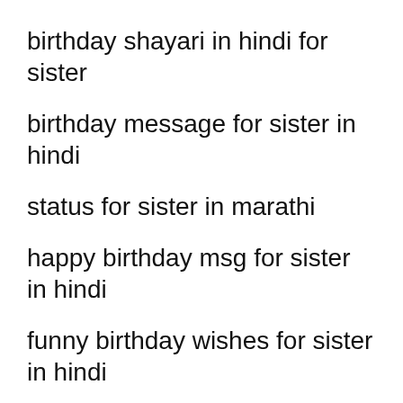birthday shayari in hindi for sister
birthday message for sister in hindi
status for sister in marathi
happy birthday msg for sister in hindi
funny birthday wishes for sister in hindi